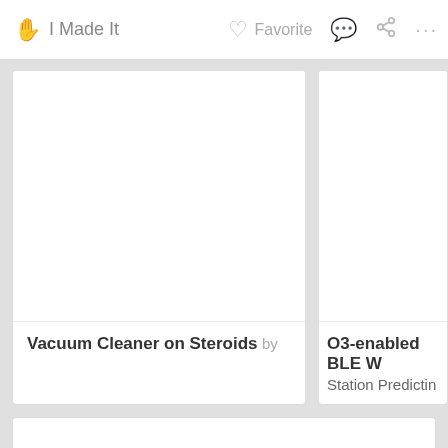I Made It  Favorite
Vacuum Cleaner on Steroids by
O3-enabled BLE W... Station Predictin...